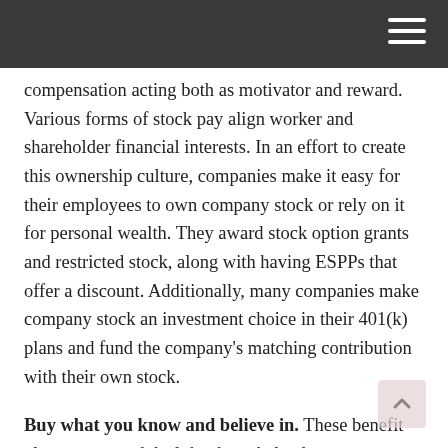[navigation bar with hamburger menu]
compensation acting both as motivator and reward. Various forms of stock pay align worker and shareholder financial interests. In an effort to create this ownership culture, companies make it easy for their employees to own company stock or rely on it for personal wealth. They award stock option grants and restricted stock, along with having ESPPs that offer a discount. Additionally, many companies make company stock an investment choice in their 401(k) plans and fund the company's matching contribution with their own stock.
Buy what you know and believe in. These benefit plans are a good deal that have helped many employees build substantial personal wealth and work towards their financial goals. You may envy and hope to emulate the employees at some hot tech company who got rich on their company stock. It's an axiom of investing to buy stock in companies and